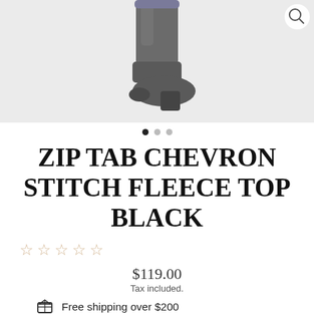[Figure (photo): Product photo of a dark grey/black boot on a light grey background, viewed from below. A search icon (magnifying glass) is in the top right corner.]
● ● ●  (carousel dots, first filled)
ZIP TAB CHEVRON STITCH FLEECE TOP BLACK
☆ ☆ ☆ ☆ ☆ (5 empty stars)
$119.00
Tax included.
Free shipping over $200
Phone Orders on (07) 3366 8885